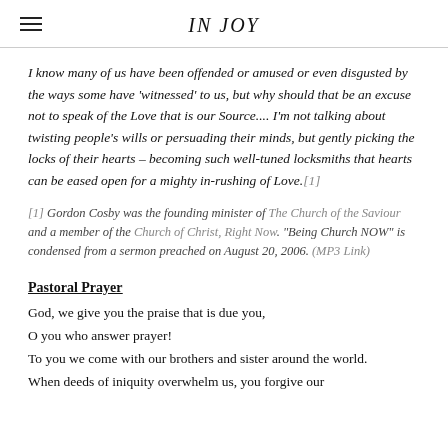IN JOY
I know many of us have been offended or amused or even disgusted by the ways some have 'witnessed' to us, but why should that be an excuse not to speak of the Love that is our Source.... I'm not talking about twisting people's wills or persuading their minds, but gently picking the locks of their hearts – becoming such well-tuned locksmiths that hearts can be eased open for a mighty in-rushing of Love.[1]
[1] Gordon Cosby was the founding minister of The Church of the Saviour and a member of the Church of Christ, Right Now. "Being Church NOW" is condensed from a sermon preached on August 20, 2006. (MP3 Link)
Pastoral Prayer
God, we give you the praise that is due you,
O you who answer prayer!
To you we come with our brothers and sister around the world.
When deeds of iniquity overwhelm us, you forgive our transgressions.